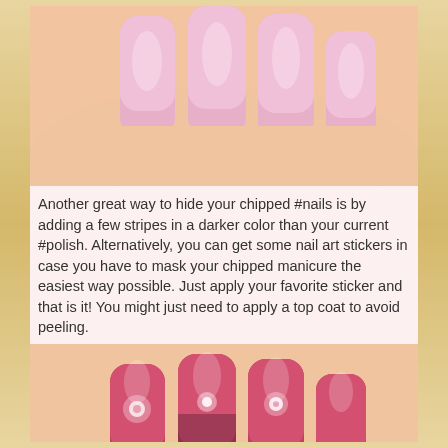[Figure (photo): Close-up photo of hands with light pink nail polish on square-shaped nails]
Another great way to hide your chipped #nails is by adding a few stripes in a darker color than your current #polish. Alternatively, you can get some nail art stickers in case you have to mask your chipped manicure the easiest way possible. Just apply your favorite sticker and that is it! You might just need to apply a top coat to avoid peeling.
[Figure (photo): Close-up photo of hands with dark pink/coral nail polish decorated with floral and lace nail art stickers]